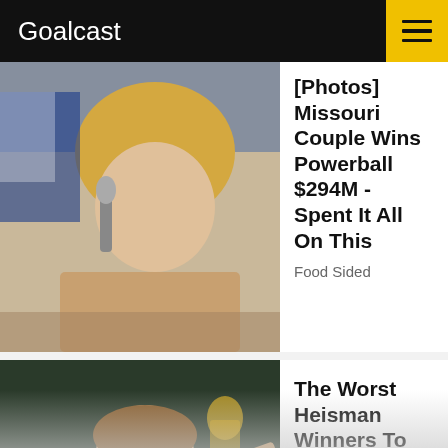Goalcast
[Figure (photo): Blonde woman speaking into a microphone at an event]
[Photos] Missouri Couple Wins Powerball $294M - Spent It All On This
Food Sided
[Figure (photo): Young man in a red Sooners #18 football jersey posing with a trophy]
The Worst Heisman Winners To Ever Play In The NFL
The Sports Drop
[Figure (photo): Group of young people smiling at the camera at a social gathering with decorative lights in the background]